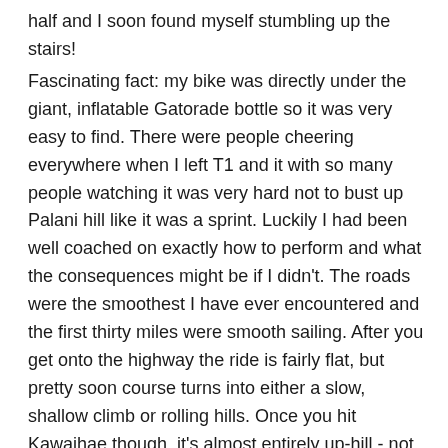half and I soon found myself stumbling up the stairs!
Fascinating fact: my bike was directly under the giant, inflatable Gatorade bottle so it was very easy to find. There were people cheering everywhere when I left T1 and it with so many people watching it was very hard not to bust up Palani hill like it was a sprint. Luckily I had been well coached on exactly how to perform and what the consequences might be if I didn't. The roads were the smoothest I have ever encountered and the first thirty miles were smooth sailing. After you get onto the highway the ride is fairly flat, but pretty soon course turns into either a slow, shallow climb or rolling hills. Once you hit Kawaihae though, it's almost entirely up-hill - not super steep but enough to slow things down, and it seems like it's never going to end. Since I didn't have the benefit of my HR monitor and I'm not quite as comfortable racing on power alone, I  tried to constantly monitor how I was feeling and stay relaxed so I wouldn't use too much energy. In hindsight, I probably could have given it more gas, but I was afraid to risk it. After the u-turn in Hawi, it's downhill for miles